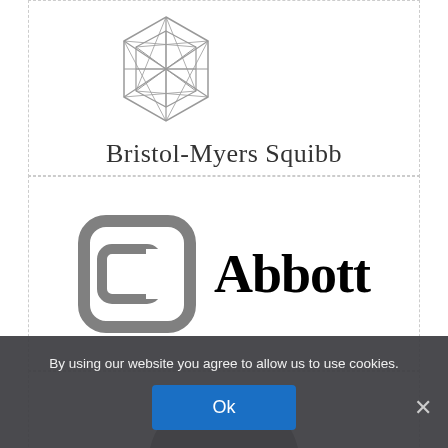[Figure (logo): Bristol-Myers Squibb logo: geometric hexagonal diamond symbol above the text 'Bristol-Myers Squibb' in serif font]
[Figure (logo): Abbott logo: gray rounded square bracket 'a' symbol on the left, bold serif 'Abbott' text on the right]
[Figure (logo): Third company logo partially visible, gray rounded shape at bottom of page]
By using our website you agree to allow us to use cookies.
Ok